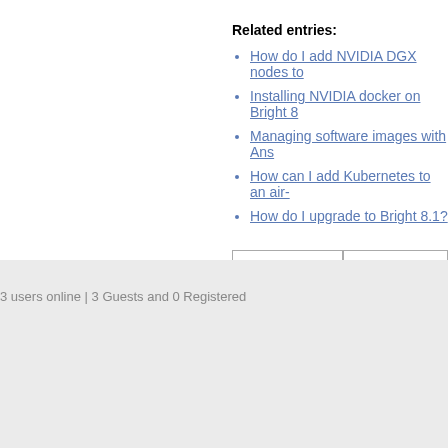Related entries:
How do I add NVIDIA DGX nodes to
Installing NVIDIA docker on Bright 8
Managing software images with Ans
How can I add Kubernetes to an air-
How do I upgrade to Bright 8.1?
About this FAQ  Rate this FAQ
You cannot comment on this entry
3 users online | 3 Guests and 0 Registered